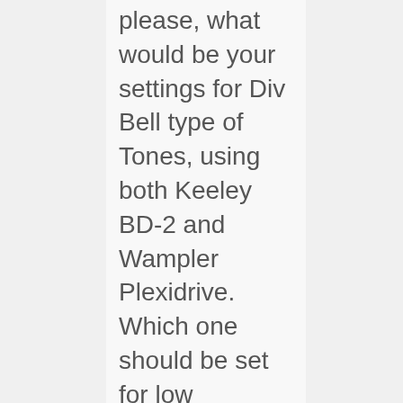please, what would be your settings for Div Bell type of Tones, using both Keeley BD-2 and Wampler Plexidrive. Which one should be set for low gain/boost, which one for overdrive, and what would be your settings (including the toggle switch on each pedal). Help would be appreciated! Own a Sound City 50 w